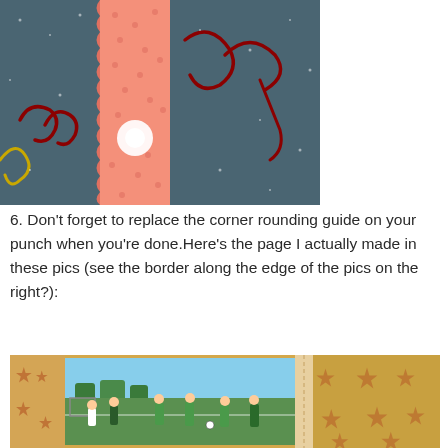[Figure (photo): Close-up of a scrapbooking project: a dark blue/grey sparkly background with a salmon/coral polka-dot textured border strip with scalloped edge running vertically, and red glittery wire/pipe cleaner letters or decorative swirls on the surface. A bright white light reflection is visible near center-left.]
6. Don't forget to replace the corner rounding guide on your punch when you're done.Here's the page I actually made in these pics (see the border along the edge of the pics on the right?):
[Figure (photo): A scrapbook page showing soccer/football players on a field photo on the left side, and a yellow/golden patterned paper with red star designs on the right side. Photos are bordered and arranged in a scrapbook layout.]